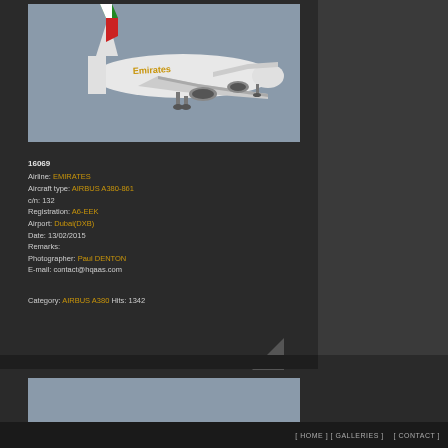[Figure (photo): Emirates Airbus A380-861 aircraft in flight, photographed from below against a grey sky, showing Emirates livery with red/green/white tail. Aircraft registration A6-EEK at Dubai airport.]
16069
Airline: EMIRATES
Aircraft type: AIRBUS A380-861
c/n: 132
Registration: A6-EEK
Airport: Dubai(DXB)
Date: 13/02/2015
Remarks:
Photographer: Paul DENTON
E-mail: contact@hqaas.com
Category: AIRBUS A380 Hits: 1342
[ HOME ] [ GALLERIES ]    [ CONTACT ]